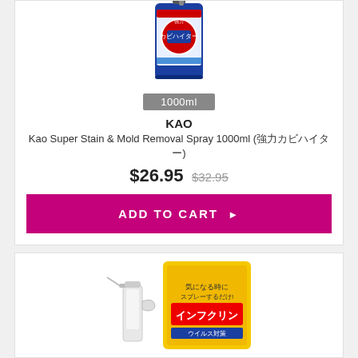[Figure (photo): Product photo: Kao カビハイター Super Stain & Mold Removal Spray bottle in blue packaging with Japanese text]
1000ml
KAO
Kao Super Stain & Mold Removal Spray 1000ml (強力カビハイター)
$26.95 $32.95
ADD TO CART ▶
[Figure (photo): Product photo: インフクリン (Infuclin) spray bottle and yellow box packaging with Japanese text]